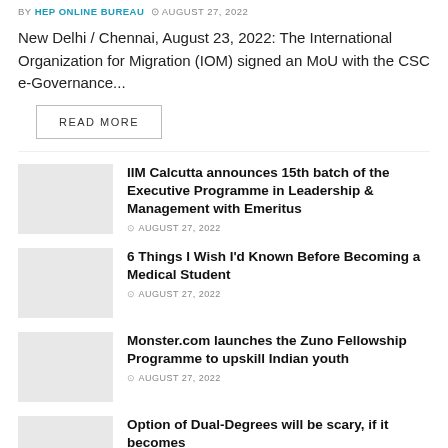BY HEP ONLINE BUREAU  ⊙ AUGUST 27, 2022
New Delhi / Chennai, August 23, 2022: The International Organization for Migration (IOM) signed an MoU with the CSC e-Governance...
READ MORE
IIM Calcutta announces 15th batch of the Executive Programme in Leadership & Management with Emeritus
⊙ AUGUST 27, 2022
6 Things I Wish I'd Known Before Becoming a Medical Student
⊙ AUGUST 27, 2022
Monster.com launches the Zuno Fellowship Programme to upskill Indian youth
⊙ AUGUST 27, 2022
Option of Dual-Degrees will be scary, if it becomes